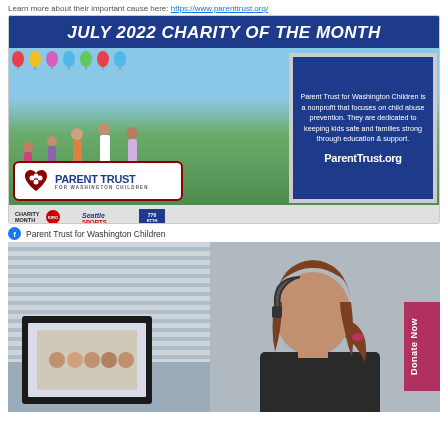Learn more about their important cause here: https://www.parenttrust.org/
[Figure (photo): July 2022 Charity of the Month promotional image for Parent Trust for Washington Children, showing children with balloons, the organization logo, an info box describing the nonprofit, and radio station logos (KIRO, Seattle Sports, KTTH 770).]
Parent Trust for Washington Children
[Figure (photo): A woman talking on a phone headset in an office, with window blinds and a framed photo visible in the background. A 'Donate Now' button is visible on the right edge.]